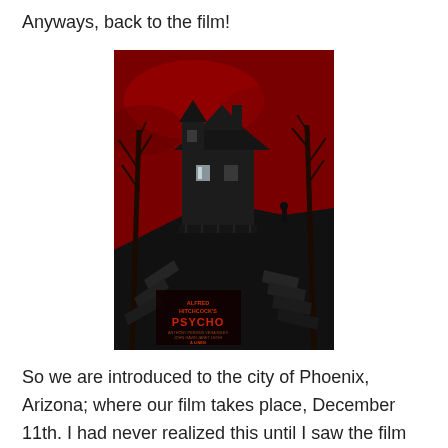Anyways, back to the film!
[Figure (illustration): Movie poster for Alfred Hitchcock's Psycho. Dark atmospheric illustration showing a foreboding Victorian house on a hill with bare trees silhouetted against a deep red sky. Stairs lead up to the house. A lone shadowy figure stands in the background. Text at bottom reads: ALFRED HITCHCOCK'S PSYCHO with additional credits.]
So we are introduced to the city of Phoenix, Arizona; where our film takes place, December 11th. I had never realized this until I saw the film this most recent time, but I